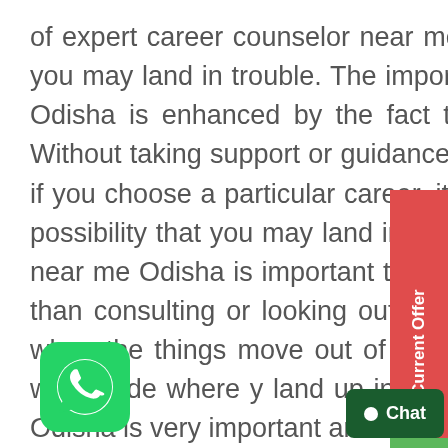of expert career counselor near me in Odisha, there is a possibility that you may land in trouble. The importance of career counselor near me in Odisha is enhanced by the fact that there is no reverse gear in life. Without taking support or guidance of career counselor near me Odisha, if you choose a particular career, it is just hit and trial and hence there is a possibility that you may land in wrong career path. So, career counselor near me Odisha is important to take the right advice at the right time rather than consulting or looking out for a career counselor near me in Odisha, when the things move out of track. The career decisions you take today, will decide where you land up in future. Hence, career counselor near me Odisha is very important and that too at the right time.
[Figure (logo): WhatsApp icon button (green rounded square with white phone/chat logo)]
[Figure (other): Current Offer sidebar tab in red with arrow]
[Figure (other): Phone call button in green]
[Figure (other): Chat button in dark green at bottom right]